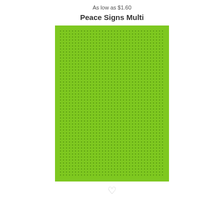As low as $1.60
Peace Signs Multi
[Figure (illustration): Party invitation card with green polka-dot border, sky blue background, floral peace sign illustration, and party details text reading: You're invited to Hailey's Sweet Sixteen, Friday, June 9th, 6:00 p.m. - 10:30 p.m., 203 East Main Street, Hosted by parents Kate and Jack Jones, Regrets only: 512.3266]
❤